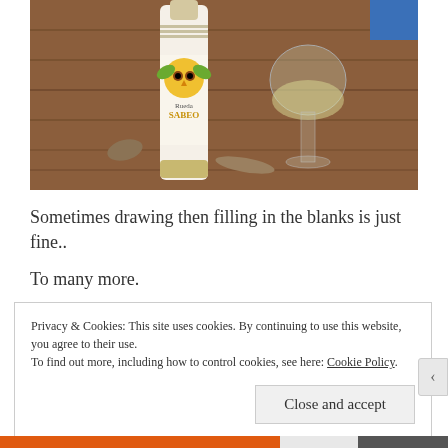[Figure (photo): A wine bottle with an owl label reading 'Rueda Sabeo' on a wooden deck surface next to a stemless glass of white wine]
Sometimes drawing then filling in the blanks is just fine..
To many more.
Privacy & Cookies: This site uses cookies. By continuing to use this website, you agree to their use.
To find out more, including how to control cookies, see here: Cookie Policy

Close and accept